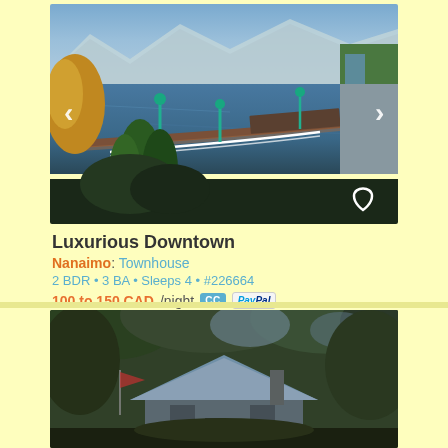[Figure (photo): Aerial/waterfront view of Nanaimo harbor with pier, teal lamp posts, white railing walkway, trees in foreground, mountains and water in background]
Luxurious Downtown
Nanaimo: Townhouse
2 BDR • 3 BA • Sleeps 4 • #226664
100 to 150 CAD/night  CC  PayPal
[Figure (photo): Forest/house scene with trees and a house with blue/grey roof visible through dense foliage, dark moody tone]